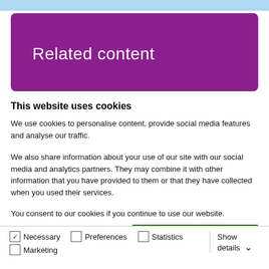[Figure (screenshot): Top blue navigation bar, partially cropped]
Related content
This website uses cookies
We use cookies to personalise content, provide social media features and analyse our traffic.
We also share information about your use of our site with our social media and analytics partners. They may combine it with other information that you have provided to them or that they have collected when you used their services.
You consent to our cookies if you continue to use our website.
Allow all cookies
Allow selection
Use necessary cookies only
Necessary  Preferences  Statistics  Marketing  Show details